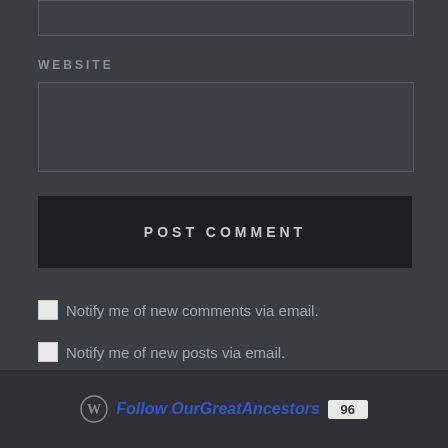WEBSITE
POST COMMENT
Notify me of new comments via email.
Notify me of new posts via email.
Follow OurGreatAncestors 96